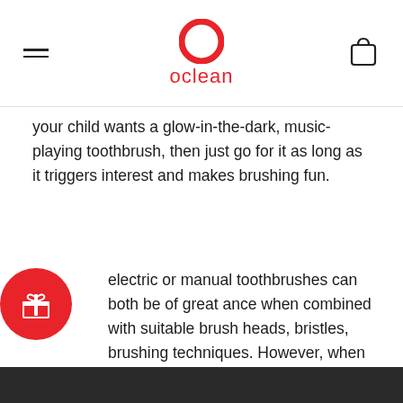oclean
your child wants a glow-in-the-dark, music-playing toothbrush, then just go for it as long as it triggers interest and makes brushing fun.
electric or manual toothbrushes can both be of great ance when combined with suitable brush heads, bristles, brushing techniques. However, when it comes to efficiency, technical functions, or even ease of use, then electric ones shall prevail.
[Figure (illustration): Orange circular gift/reward button with white gift box icon]